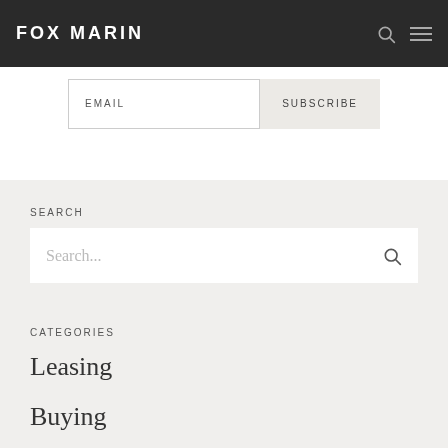FOX MARIN
EMAIL
SUBSCRIBE
SEARCH
Search...
CATEGORIES
Leasing
Buying